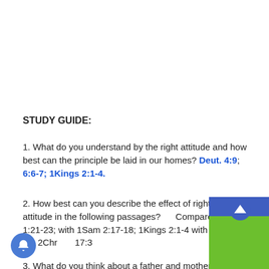STUDY GUIDE:
1. What do you understand by the right attitude and how best can the principle be laid in our homes? Deut. 4:9; 6:6-7; 1Kings 2:1-4.
2. How best can you describe the effect of right parental attitude in the following passages?      Compare 1Sam 1:21-23; with 1Sam 2:17-18; 1Kings 2:1-4 with 1Kings 59-11; 2Chr       17:3
3. What do you think about a father and mother fighting in